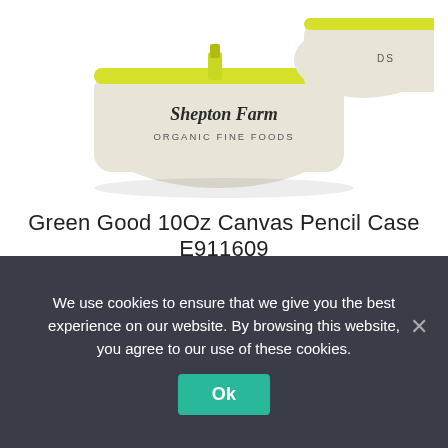[Figure (photo): Two canvas pencil cases with yellow zipper and 'Shepton Farm Organic Fine Foods' branding on cream/off-white fabric background.]
Green Good 10Oz Canvas Pencil Case E911609
From: £0.99 (each)
Select options
We use cookies to ensure that we give you the best experience on our website. By browsing this website, you agree to our use of these cookies.
Ok